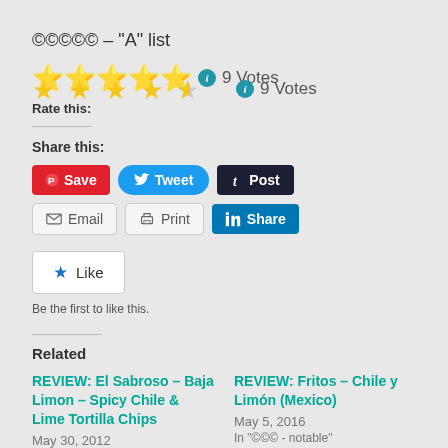©©©©© – "A" list
Rate this: ★★★★½  ℹ  9 Votes
Share this:
Save  Tweet  Post  Email  Print  Share
★ Like
Be the first to like this.
Related
REVIEW: El Sabroso – Baja Limon – Spicy Chile & Lime Tortilla Chips
May 30, 2012
REVIEW: Fritos – Chile y Limón (Mexico)
May 5, 2016
In "©©© - notable"